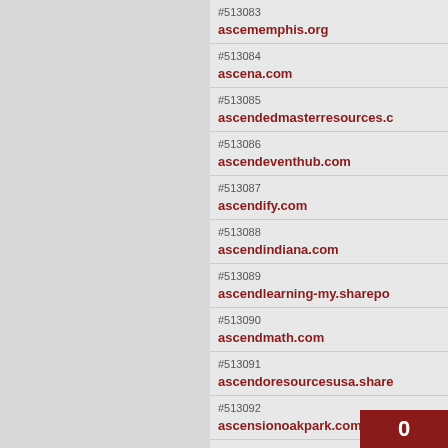#513083 ascememphis.org
#513084 ascena.com
#513085 ascendedmasterresources.c
#513086 ascendeventhub.com
#513087 ascendify.com
#513088 ascendindiana.com
#513089 ascendlearning-my.sharepo
#513090 ascendmath.com
#513091 ascendoresourcesusa.share
#513092 ascensionoakpark.com
#513093 ascensionpress.com
#513094 ascentcardiology.com
#513095 ascentoutdoors.
0